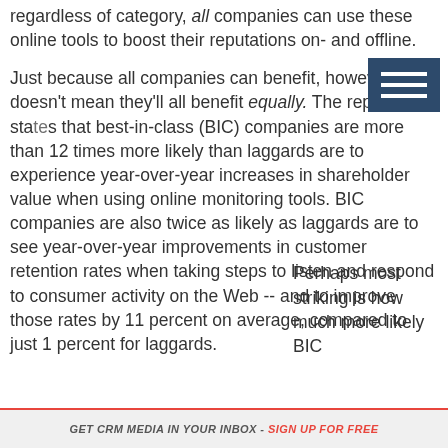regardless of category, all companies can use these online tools to boost their reputations on- and offline.
Just because all companies can benefit, however, doesn't mean they'll all benefit equally. The report states that best-in-class (BIC) companies are more than 12 times more likely than laggards are to experience year-over-year increases in shareholder value when using online monitoring tools. BIC companies are also twice as likely as laggards are to see year-over-year improvements in customer retention rates when taking steps to listen and respond to consumer activity on the Web -- and to improve those rates by 11 percent on average, compared to just 1 percent for laggards.
Perhaps most striking is how much more likely BIC...
GET CRM MEDIA IN YOUR INBOX - SIGN UP FOR FREE